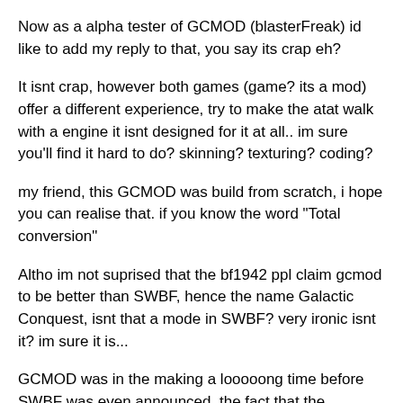Now as a alpha tester of GCMOD (blasterFreak) id like to add my reply to that, you say its crap eh?
It isnt crap, however both games (game? its a mod) offer a different experience, try to make the atat walk with a engine it isnt designed for it at all.. im sure you'll find it hard to do? skinning? texturing? coding?
my friend, this GCMOD was build from scratch, i hope you can realise that. if you know the word "Total conversion"
Altho im not suprised that the bf1942 ppl claim gcmod to be better than SWBF, hence the name Galactic Conquest, isnt that a mode in SWBF? very ironic isnt it? im sure it is...
GCMOD was in the making a looooong time before SWBF was even announced, the fact that the lucasarts team first blame the GCMOD for the Starwars content its about and then take over its name? on the other hand that makes the GC'ers proud, but still...
1 more thing, a mod and a game are 2 totally different things, im